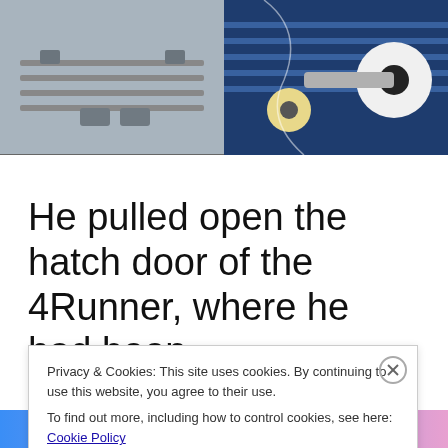[Figure (photo): Left: gray/silver vehicle hatch door hardware close-up. Right: skateboard trucks and wheels on blue background with graphic design.]
He pulled open the hatch door of the 4Runner, where he had been
Privacy & Cookies: This site uses cookies. By continuing to use this website, you agree to their use.
To find out more, including how to control cookies, see here: Cookie Policy
[Close and accept button]